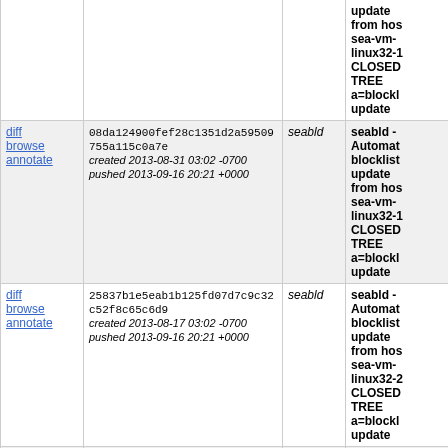|  | Hash / Date | Who | Description |
| --- | --- | --- | --- |
|  | update from hos sea-vm-linux32-1 CLOSED TREE a=blockl update |  |  |
| diff browse annotate | 08da124900fef28c1351d2a59509755a115c0a7e
created 2013-08-31 03:02 -0700
pushed 2013-09-16 20:21 +0000 | seabld | seabld - Automat blocklist update from hos sea-vm-linux32-1 CLOSED TREE a=blockl update |
| diff browse annotate | 25837b1e5eab1b125fd07d7c9c32c52f8c65c6d9
created 2013-08-17 03:02 -0700
pushed 2013-09-16 20:21 +0000 | seabld | seabld - Automat blocklist update from hos sea-vm-linux32-2 CLOSED TREE a=blockl update |
| diff browse annotate | 4588b7fc33848f7944bb3eeb32787bbc62e393a9
created 2013-08-16 03:02 -0700 | seabld | seabld - |